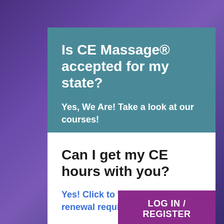Is CE Massage® accepted for my state?
Yes, We Are! Take a look at our courses!
Can I get my CE hours with you?
Yes! Click to view your exact renewal requirements.
LOG IN / REGISTER